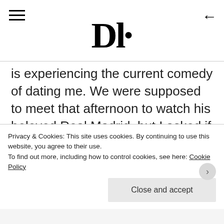Dl.
is experiencing the current comedy of dating me. We were supposed to meet that afternoon to watch his beloved Real Madrid, but I asked if he could come a little early to remove the moth. Unfortunately, Colombians use the same word – mariposa – for both butterfly and moth, so I was unable to convey my full disgust at its' huge furry, flappy-ness.
Privacy & Cookies: This site uses cookies. By continuing to use this website, you agree to their use.
To find out more, including how to control cookies, see here: Cookie Policy
Close and accept